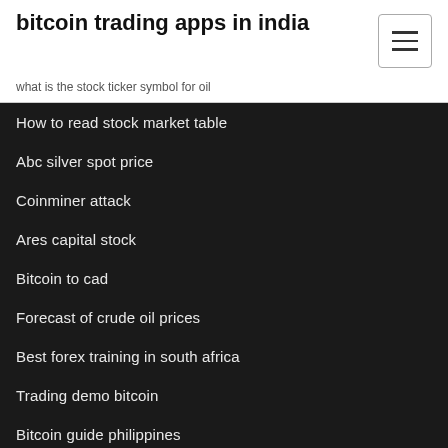bitcoin trading apps in india
what is the stock ticker symbol for oil
How to read stock market table
Abc silver spot price
Coinminer attack
Ares capital stock
Bitcoin to cad
Forecast of crude oil prices
Best forex training in south africa
Trading demo bitcoin
Bitcoin guide philippines
Starting icon free